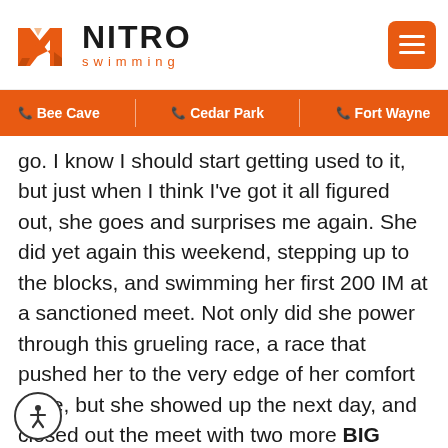NITRO swimming
Bee Cave | Cedar Park | Fort Wayne
go. I know I should start getting used to it, but just when I think I've got it all figured out, she goes and surprises me again. She did yet again this weekend, stepping up to the blocks, and swimming her first 200 IM at a sanctioned meet. Not only did she power through this grueling race, a race that pushed her to the very edge of her comfort zone, but she showed up the next day, and closed out the meet with two more BIG breaststroke swims. Just couldn't ask more of a swimmer. Nitro is lucky to have a such a positive force that is Katie, and I'm